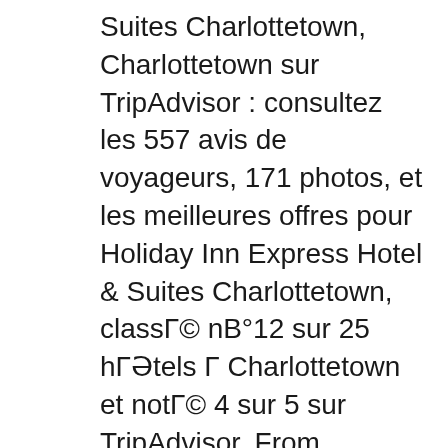Suites Charlottetown, Charlottetown sur TripAdvisor : consultez les 557 avis de voyageurs, 171 photos, et les meilleures offres pour Holiday Inn Express Hotel & Suites Charlottetown, classΓ© nΒ°12 sur 25 hΓΓtels Γ Charlottetown et notΓ© 4 sur 5 sur TripAdvisor. From AU$130 per night on TripAdvisor: Holiday Inn Express Hotel & Suites Charlottetown, Charlottetown. See 556 traveller reviews, 172 photos, and cheap rates for Holiday Inn Express Hotel & Suites Charlottetown, ranked #12 of 25 hotels in Charlottetown and rated 4 of 5 at TripAdvisor.
Holiday Inn Express Hotel & Suites Charlottetown, Charlottetown: See 554